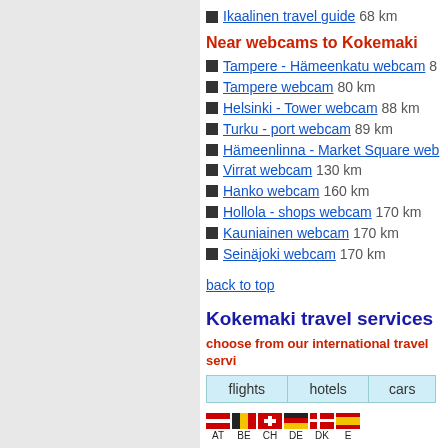Ikaalinen travel guide 68 km
Near webcams to Kokemaki
Tampere - Hämeenkatu webcam 8...
Tampere webcam 80 km
Helsinki - Tower webcam 88 km
Turku - port webcam 89 km
Hämeenlinna - Market Square web...
Virrat webcam 130 km
Hanko webcam 160 km
Hollola - shops webcam 170 km
Kauniainen webcam 170 km
Seinäjoki webcam 170 km
back to top
Kokemaki travel services
choose from our international travel servi...
| flights | hotels | cars |
| --- | --- | --- |
[Figure (infographic): Country flags for AT, BE, CH, DE, DK, E...]
cheap flights to Kokemaki
book cheap flights to Kokemaki »
book cheap flights to Finland »
City Travel Guide is exclusive partner o... booking systems. We are happy to offer... also available cheap airline tickets to F... Kokemaki deals also available.